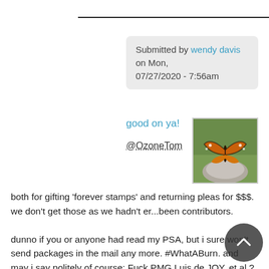Submitted by wendy davis on Mon, 07/27/2020 - 7:56am
good on ya!
@OzoneTom
[Figure (photo): A monarch butterfly resting on a rock among green foliage]
both for gifting 'forever stamps' and returning pleas for $$$. we don't get those as we hadn't er...been contributors.
dunno if you or anyone had read my PSA, but i sure won't send packages in the mail any more. #WhatABurn. and may i say politely of course: Fuck PMG Luis de JOY, et.al.?